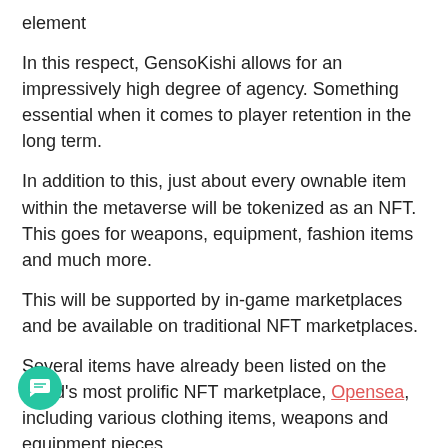element
In this respect, GensoKishi allows for an impressively high degree of agency. Something essential when it comes to player retention in the long term.
In addition to this, just about every ownable item within the metaverse will be tokenized as an NFT. This goes for weapons, equipment, fashion items and much more.
This will be supported by in-game marketplaces and be available on traditional NFT marketplaces.
Several items have already been listed on the world's most prolific NFT marketplace, Opensea, including various clothing items, weapons and equipment pieces.
Incorporating NFTs, gamification and metaverses, GensoKishi is addressing some of the hottest topics in cryptocurrency right now.